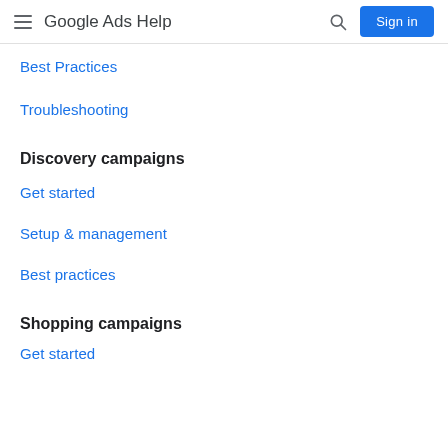Google Ads Help
Best Practices
Troubleshooting
Discovery campaigns
Get started
Setup & management
Best practices
Shopping campaigns
Get started